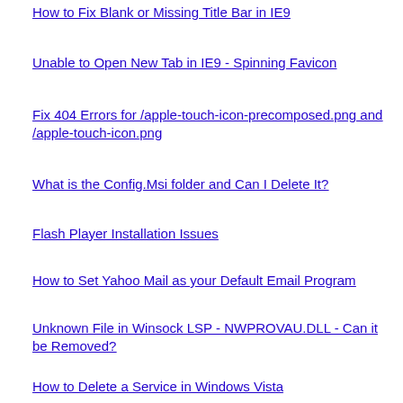How to Fix Blank or Missing Title Bar in IE9
Unable to Open New Tab in IE9 - Spinning Favicon
Fix 404 Errors for /apple-touch-icon-precomposed.png and /apple-touch-icon.png
What is the Config.Msi folder and Can I Delete It?
Flash Player Installation Issues
How to Set Yahoo Mail as your Default Email Program
Unknown File in Winsock LSP - NWPROVAU.DLL - Can it be Removed?
How to Delete a Service in Windows Vista
How to Disable the On-Screen Keyboard in Windows Vista